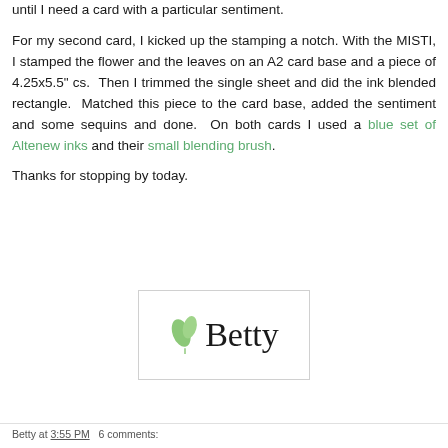until I need a card with a particular sentiment.
For my second card, I kicked up the stamping a notch. With the MISTI, I stamped the flower and the leaves on an A2 card base and a piece of 4.25x5.5" cs. Then I trimmed the single sheet and did the ink blended rectangle. Matched this piece to the card base, added the sentiment and some sequins and done. On both cards I used a blue set of Altenew inks and their small blending brush.
Thanks for stopping by today.
[Figure (illustration): Signature block showing a green leaf logo and cursive 'Betty' text in a white box with border]
Betty at 3:55 PM   6 comments: